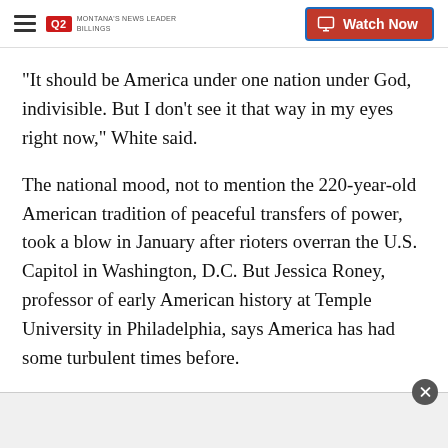Q2 MONTANA'S NEWS LEADER BILLINGS | Watch Now
"It should be America under one nation under God, indivisible. But I don't see it that way in my eyes right now," White said.
The national mood, not to mention the 220-year-old American tradition of peaceful transfers of power, took a blow in January after rioters overran the U.S. Capitol in Washington, D.C. But Jessica Roney, professor of early American history at Temple University in Philadelphia, says America has had some turbulent times before.